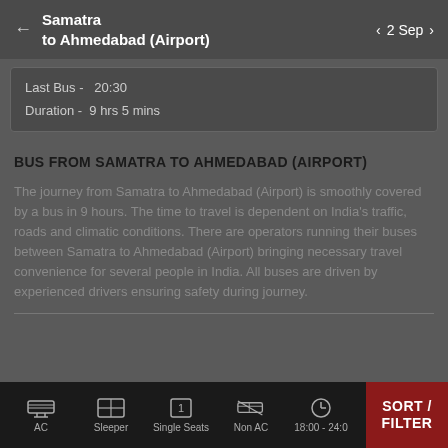Samatra to Ahmedabad (Airport) — 2 Sep
Last Bus - 20:30
Duration - 9 hrs 5 mins
BUS FROM SAMATRA TO AHMEDABAD (AIRPORT)
The journey from Samatra to Ahmedabad (Airport) is smoothly covered by a bus in 9 hours. The time to travel is dependent on India's traffic, roads and climatic conditions. There are operators running their buses between Samatra to Ahmedabad (Airport) bringing necessary travel convenience for several people in India. All buses are driven by experienced drivers ensuring safety during journey.
AC  Sleeper  Single Seats  Non AC  18:00 - 24:00  SORT / FILTER